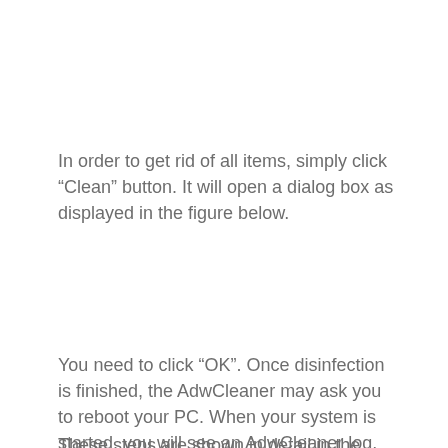In order to get rid of all items, simply click “Clean” button. It will open a dialog box as displayed in the figure below.
You need to click “OK”. Once disinfection is finished, the AdwCleaner may ask you to reboot your PC. When your system is started, you will see an AdwCleaner log.
These steps are shown in detail in the